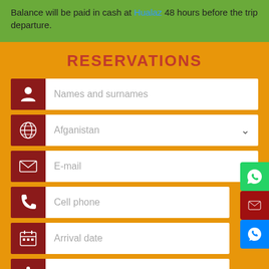Balance will be paid in cash at Hualaz 48 hours before the trip departure.
RESERVATIONS
Names and surnames
Afganistan
E-mail
Cell phone
Arrival date
Climbing
Message
[Figure (screenshot): reCAPTCHA widget with checkbox and 'I'm not a robot' text]